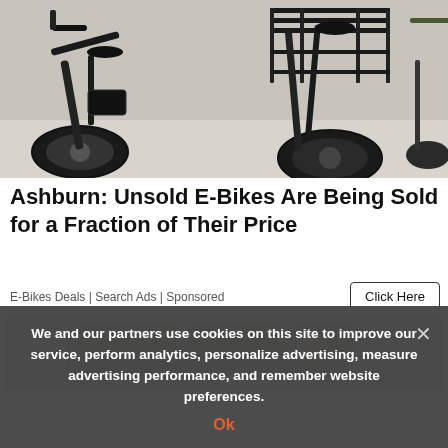[Figure (photo): Close-up photograph of two black electric bicycles (e-bikes) with fat tires, motor batteries, and cargo racks, parked side by side indoors on a light floor.]
Ashburn: Unsold E-Bikes Are Being Sold for a Fraction of Their Price
E-Bikes Deals | Search Ads | Sponsored
[Figure (photo): Partial image of a grey sectional sofa with decorative cushions, partially visible at bottom of ad card.]
We and our partners use cookies on this site to improve our service, perform analytics, personalize advertising, measure advertising performance, and remember website preferences.
Ok